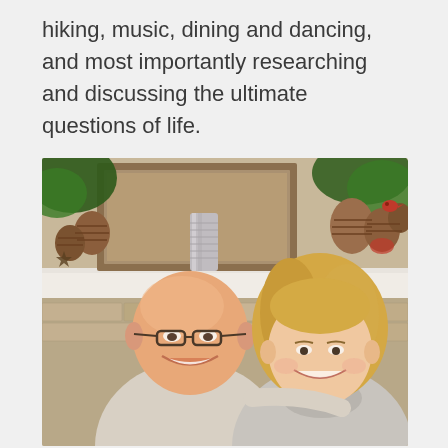hiking, music, dining and dancing, and most importantly researching and discussing the ultimate questions of life.
[Figure (photo): A smiling older couple posing together in front of a fireplace mantel decorated with Christmas/holiday decorations including pine cones, greenery, and a silver candle holder. The man is bald with glasses and wearing a light grey shirt; the woman has blonde hair and is wearing a grey turtleneck.]